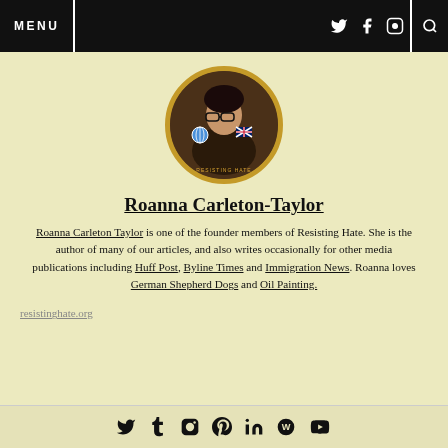MENU
[Figure (photo): Circular profile photo of Roanna Carleton-Taylor with a gold border, showing a woman with glasses holding an object, with small flag emoji overlays (globe and UK flag). Text 'RESISTING HATE' appears at the bottom of the circle.]
Roanna Carleton-Taylor
Roanna Carleton Taylor is one of the founder members of Resisting Hate. She is the author of many of our articles, and also writes occasionally for other media publications including Huff Post, Byline Times and Immigration News. Roanna loves German Shepherd Dogs and Oil Painting.
resistinghate.org
Social icons: Twitter, Tumblr, Instagram, Pinterest, LinkedIn, WordPress, YouTube